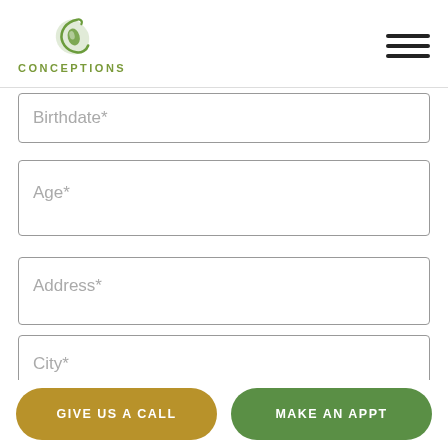[Figure (logo): Conceptions logo: green leaf/seed icon above text CONCEPTIONS in green]
Birthdate*
Age*
Address*
City*
State*
GIVE US A CALL
MAKE AN APPT